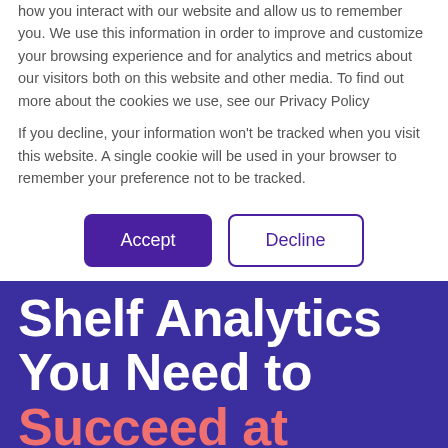how you interact with our website and allow us to remember you. We use this information in order to improve and customize your browsing experience and for analytics and metrics about our visitors both on this website and other media. To find out more about the cookies we use, see our Privacy Policy
If you decline, your information won't be tracked when you visit this website. A single cookie will be used in your browser to remember your preference not to be tracked.
Accept | Decline
Shelf Analytics You Need to Succeed at Speed & Scale